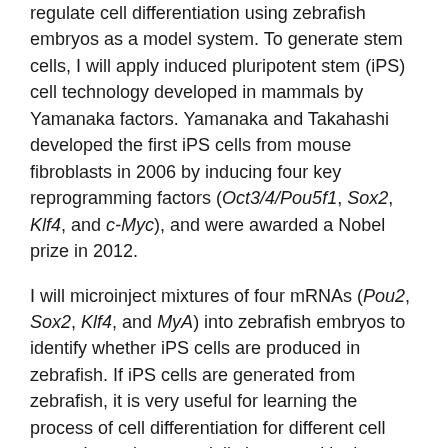regulate cell differentiation using zebrafish embryos as a model system. To generate stem cells, I will apply induced pluripotent stem (iPS) cell technology developed in mammals by Yamanaka factors. Yamanaka and Takahashi developed the first iPS cells from mouse fibroblasts in 2006 by inducing four key reprogramming factors (Oct3/4/Pou5f1, Sox2, Klf4, and c-Myc), and were awarded a Nobel prize in 2012.
I will microinject mixtures of four mRNAs (Pou2, Sox2, Klf4, and MyA) into zebrafish embryos to identify whether iPS cells are produced in zebrafish. If iPS cells are generated from zebrafish, it is very useful for learning the process of cell differentiation for different cell types. I am also especially interested in the mechanisms by which the embryonic stem cells differentiate to neuronal cells or germ cells.